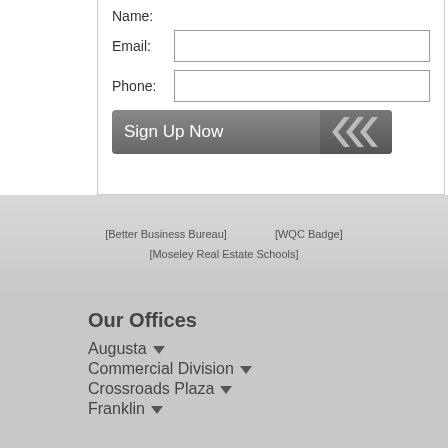Name:
Email:
Phone:
[Figure (screenshot): Sign Up Now button with chevron arrows on the right side]
[Figure (infographic): Better Business Bureau badge, WQC Badge, and Moseley Real Estate Schools badge/logo images]
Our Offices
Augusta
Commercial Division
Crossroads Plaza
Franklin